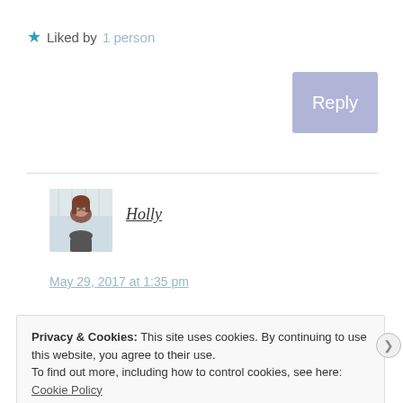★ Liked by 1 person
Reply
[Figure (photo): Avatar photo of Holly, a woman with glasses and brown hair]
Holly
May 29, 2017 at 1:35 pm
Privacy & Cookies: This site uses cookies. By continuing to use this website, you agree to their use.
To find out more, including how to control cookies, see here: Cookie Policy
Close and accept